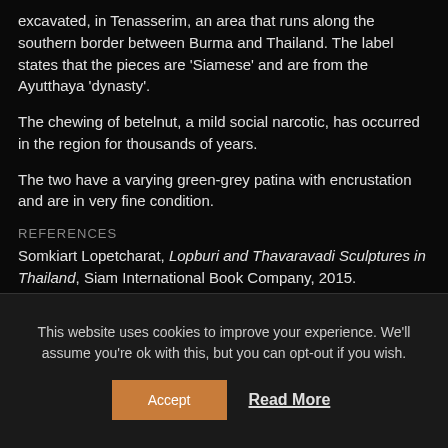excavated, in Tenasserim, an area that runs along the southern border between Burma and Thailand. The label states that the pieces are 'Siamese' and are from the Ayutthaya 'dynasty'.
The chewing of betelnut, a mild social narcotic, has occurred in the region for thousands of years.
The two have a varying green-grey patina with encrustation and are in very fine condition.
REFERENCES
Somkiart Lopetcharat, Lopburi and Thavaravadi Sculptures in Thailand, Siam International Book Company, 2015.
This website uses cookies to improve your experience. We'll assume you're ok with this, but you can opt-out if you wish.